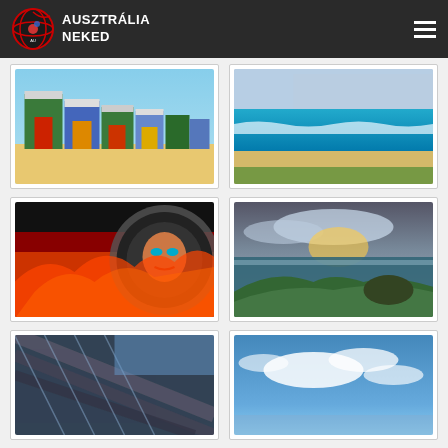AUSZTRÁLIA NEKED
[Figure (photo): Colorful beach huts on a sandy beach in Brighton, Melbourne, Australia]
[Figure (photo): Aerial view of a long sandy beach with turquoise water and city skyline, Manly Beach Sydney]
[Figure (photo): Street art mural of a woman in an astronaut helmet surrounded by fire and flames]
[Figure (photo): Aerial sunset view of green hills and ocean coastline]
[Figure (photo): Under a bridge or structure, urban/architectural photo]
[Figure (photo): Blue sky and clouds landscape, possibly Australian coast]